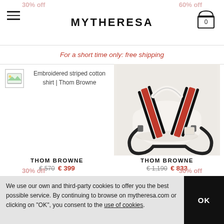MYTHERESA
For a short time only: free shipping
[Figure (photo): Broken image placeholder for Embroidered striped cotton shirt | Thom Browne]
Embroidered striped cotton shirt | Thom Browne
[Figure (photo): Thom Browne white duffle bag with red and navy stripe handles on shoulder strap, light grey background]
THOM BROWNE
€ 570  € 399
THOM BROWNE
€ 1,190  € 833
We use our own and third-party cookies to offer you the best possible service. By continuing to browse on mytheresa.com or clicking on "OK", you consent to the use of cookies.